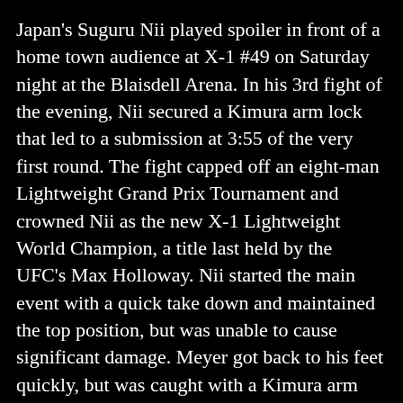Japan's Suguru Nii played spoiler in front of a home town audience at X-1 #49 on Saturday night at the Blaisdell Arena. In his 3rd fight of the evening, Nii secured a Kimura arm lock that led to a submission at 3:55 of the very first round. The fight capped off an eight-man Lightweight Grand Prix Tournament and crowned Nii as the new X-1 Lightweight World Champion, a title last held by the UFC's Max Holloway. Nii started the main event with a quick take down and maintained the top position, but was unable to cause significant damage. Meyer got back to his feet quickly, but was caught with a Kimura arm lock while attempting to put Nii back on the ground. A gracious Nii simply said “My name is Suguru Nii, thank you, thank you.”
CO-MAIN EVENT: Rodney Mondala def. Bill